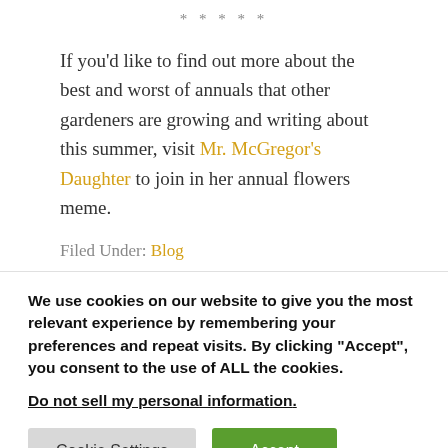* * * * *
If you'd like to find out more about the best and worst of annuals that other gardeners are growing and writing about this summer, visit Mr. McGregor's Daughter to join in her annual flowers meme.
Filed Under: Blog
We use cookies on our website to give you the most relevant experience by remembering your preferences and repeat visits. By clicking “Accept”, you consent to the use of ALL the cookies.
Do not sell my personal information.